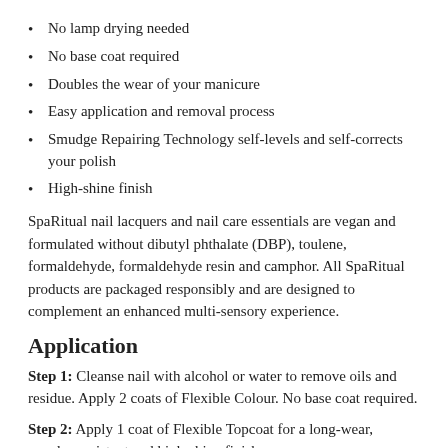No lamp drying needed
No base coat required
Doubles the wear of your manicure
Easy application and removal process
Smudge Repairing Technology self-levels and self-corrects your polish
High-shine finish
SpaRitual nail lacquers and nail care essentials are vegan and formulated without dibutyl phthalate (DBP), toulene, formaldehyde, formaldehyde resin and camphor. All SpaRitual products are packaged responsibly and are designed to complement an enhanced multi-sensory experience.
Application
Step 1: Cleanse nail with alcohol or water to remove oils and residue. Apply 2 coats of Flexible Colour. No base coat required.
Step 2: Apply 1 coat of Flexible Topcoat for a long-wear, smudge resistant and high-shine finish.